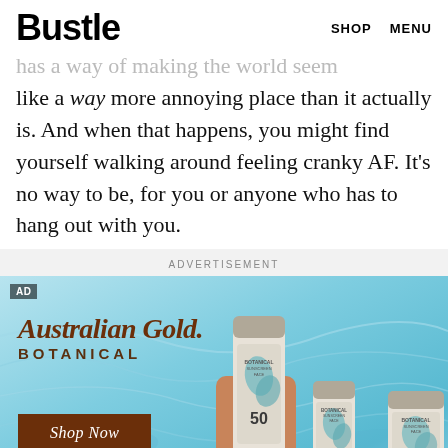Bustle  SHOP  MENU
...has a way of making the world seem like a way more annoying place than it actually is. And when that happens, you might find yourself walking around feeling cranky AF. It's no way to be, for you or anyone who has to hang out with you.
ADVERTISEMENT
[Figure (photo): Australian Gold Botanical SPF 50 sunscreen advertisement with three product tubes against a blue water background. Shows 'Australian Gold BOTANICAL' logo and a 'Shop Now' button.]